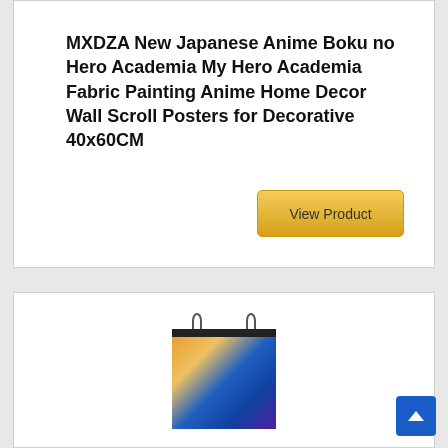MXDZA New Japanese Anime Boku no Hero Academia My Hero Academia Fabric Painting Anime Home Decor Wall Scroll Posters for Decorative 40x60CM
[Figure (other): A golden 'View Product' button]
[Figure (photo): An anime wall scroll poster product image showing anime characters on a colorful background, hanging from a black rod with hooks]